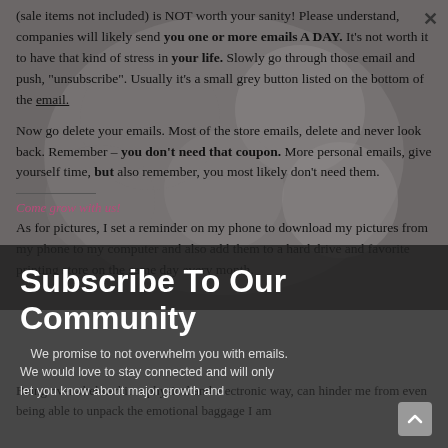[Figure (photo): Group of diverse people with heads together in a circle, viewed from below, smiling. Semi-transparent overlay darkens the image.]
(sale items not included) is NOT worth your sanity! Please understand, companies will likely send you one or more emails A DAY. It's not worth it to have that kind of stress in your life. Slowly go through those email and push, "unsubscribe". Usually it's a small grey button listed on the bottom of the email.
Now go delete your emails. Most of the store emails, delete and never look back. Remember – you don't need that coupon. More personal emails, give yourself time, but also remember, you most likely don't need them.
Come grow with us!
As for pictures, I set a reminder on my phone to download my pictures from my phone to my computer and also add them to a hard drive and favorite printing store on the same day every month.
Subscribe To Our Community
We promise to not overwhelm you with emails. We would love to stay connected and will only let you know about major growth and
Being overwhelmed in a physical and electronic way, can hinder me from even being able to unpack the emotional baggage I am